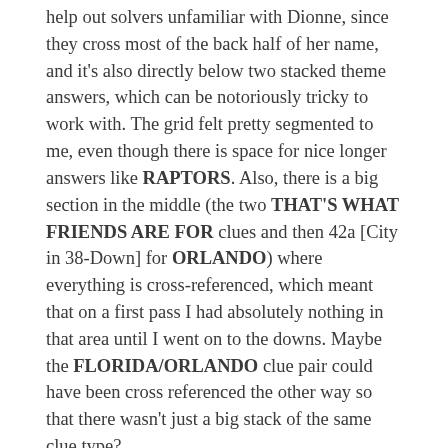help out solvers unfamiliar with Dionne, since they cross most of the back half of her name, and it's also directly below two stacked theme answers, which can be notoriously tricky to work with. The grid felt pretty segmented to me, even though there is space for nice longer answers like RAPTORS. Also, there is a big section in the middle (the two THAT'S WHAT FRIENDS ARE FOR clues and then 42a [City in 38-Down] for ORLANDO) where everything is cross-referenced, which meant that on a first pass I had absolutely nothing in that area until I went on to the downs. Maybe the FLORIDA/ORLANDO clue pair could have been cross referenced the other way so that there wasn't just a big stack of the same clue type?
Closing with the most embarrassing part of my solve today: